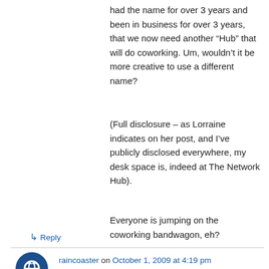had the name for over 3 years and been in business for over 3 years, that we now need another “Hub” that will do coworking. Um, wouldn’t it be more creative to use a different name?
(Full disclosure – as Lorraine indicates on her post, and I’ve publicly disclosed everywhere, my desk space is, indeed at The Network Hub).
Everyone is jumping on the coworking bandwagon, eh?
↳ Reply
raincoaster on October 1, 2009 at 4:19 pm
The Network Hub was a face-to-face networking